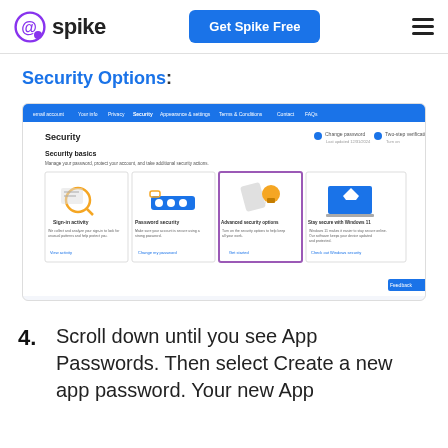spike | Get Spike Free
Security Options:
[Figure (screenshot): Screenshot of a Microsoft account Security page showing four security option cards: Sign-in activity, Password security, Advanced security options (highlighted with a purple border), and Stay secure with Windows 11. Each card has an icon and description text. The page has a blue navigation bar at the top.]
4. Scroll down until you see App Passwords. Then select Create a new app password. Your new App